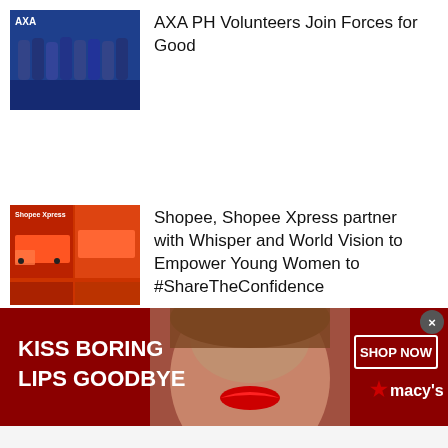[Figure (photo): Group photo of AXA PH volunteers wearing masks, in blue uniforms inside a venue]
AXA PH Volunteers Join Forces for Good
[Figure (photo): Collage of Shopee and Shopee Xpress photos with orange trucks and people]
Shopee, Shopee Xpress partner with Whisper and World Vision to Empower Young Women to #ShareTheConfidence
[Figure (photo): Macy's advertisement banner with text KISS BORING LIPS GOODBYE, a woman's face with red lipstick, and SHOP NOW button with Macy's star logo]